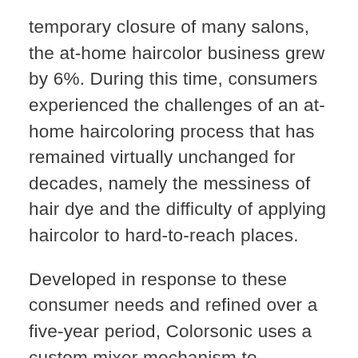temporary closure of many salons, the at-home haircolor business grew by 6%. During this time, consumers experienced the challenges of an at-home haircoloring process that has remained virtually unchanged for decades, namely the messiness of hair dye and the difficulty of applying haircolor to hard-to-reach places.
Developed in response to these consumer needs and refined over a five-year period, Colorsonic uses a custom mixer mechanism to combine a precise amount of developer and formula to create a haircolor. The device then dispenses the right dose of haircolor and applies it to the hair via an